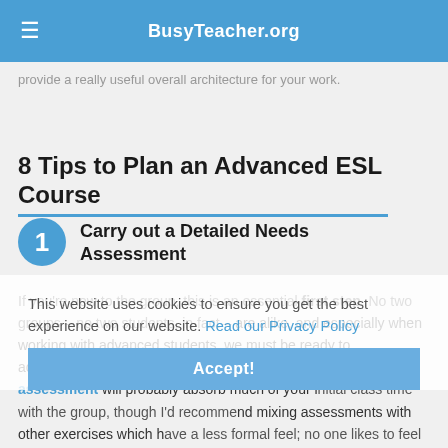BusyTeacher.org
provide a really useful overall architecture for your work.
8 Tips to Plan an Advanced ESL Course
1. Carry out a Detailed Needs Assessment
If you're new to the group, this is an essential first step. No two groups – no two students, in fact – are alike, and especially when working with advanced students, we must be ready to accommodate considerable variety and individuality. The needs assessment will probably absorb much of your initial class time with the group, though I'd recommend mixing assessments with other exercises which have a less formal feel; no one likes to feel as though they're
This website uses cookies to ensure you get the best experience on our website. Read our Privacy Policy
Accept!